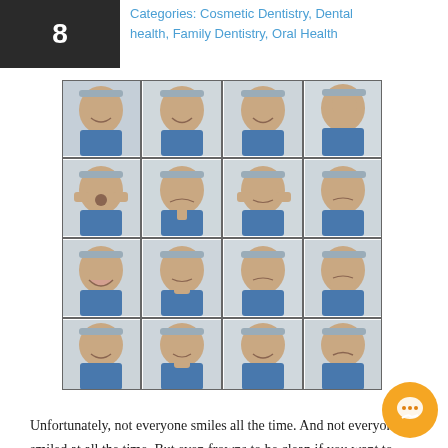Categories: Cosmetic Dentistry, Dental health, Family Dentistry, Oral Health
[Figure (photo): A 4x4 grid of portrait photos showing a young woman in a blue shirt wearing a headband, each photo displaying a different facial expression including smiling, laughing, surprised, thinking, pouting, and serious expressions.]
Unfortunately, not everyone smiles all the time. And not everyone is smiled at all the time. But even frowns to be clean if you want to maintain a high level of dental